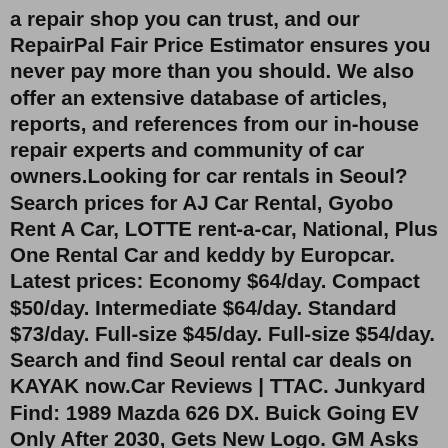a repair shop you can trust, and our RepairPal Fair Price Estimator ensures you never pay more than you should. We also offer an extensive database of articles, reports, and references from our in-house repair experts and community of car owners.Looking for car rentals in Seoul? Search prices for AJ Car Rental, Gyobo Rent A Car, LOTTE rent-a-car, National, Plus One Rental Car and keddy by Europcar. Latest prices: Economy $64/day. Compact $50/day. Intermediate $64/day. Standard $73/day. Full-size $45/day. Full-size $54/day. Search and find Seoul rental car deals on KAYAK now.Car Reviews | TTAC. Junkyard Find: 1989 Mazda 626 DX. Buick Going EV Only After 2030, Gets New Logo. GM Asks Suppliers to Sign Environmental Pledge, ESG Scoring. 2023 Cadillac Escalade-V: Blackwing All the Things. Toyota Scales Back June Production, Ford Drops German Factory.The 20 most problem-prone vehicles are shown below, based on the total number of complaints reported by owners. Click on a vehicle below for more information. 2002 Ford Explorer #1: